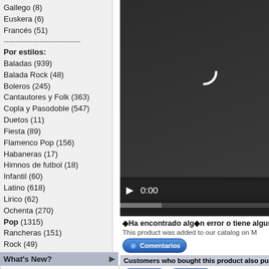Gallego (8)
Euskera (6)
Francés (51)
--------------------------------
Por estilos:
Baladas (939)
Balada Rock (48)
Boleros (245)
Cantautores y Folk (363)
Copla y Pasodoble (547)
Duetos (11)
Fiesta (89)
Flamenco Pop (156)
Habaneras (17)
Himnos de futbol (18)
Infantil (60)
Latino (618)
Lirico (62)
Ochenta (270)
Pop (1315)
Rancheras (151)
Rock (49)
Rumba y Sevillanas (121)
Sesenta y Setenta (456)
Tangos (525)
Villancicos (57)
What's New?
[Figure (screenshot): Sin Voz button with label La Jaca Mas Postinera 3.99EUR]
[Figure (screenshot): Video player area showing dark background with spinner arc, play button and 0:00 time, progress bar]
◆Ha encontrado alg◆n error o tiene alguna su
This product was added to our catalog on M
[Figure (screenshot): Comentarios button (blue pill)]
Customers who bought this product also puro
[Figure (screenshot): Sin Voz button - Bossanova]
[Figure (screenshot): Sin Voz button - Galilea]
Bossanova
Galilea